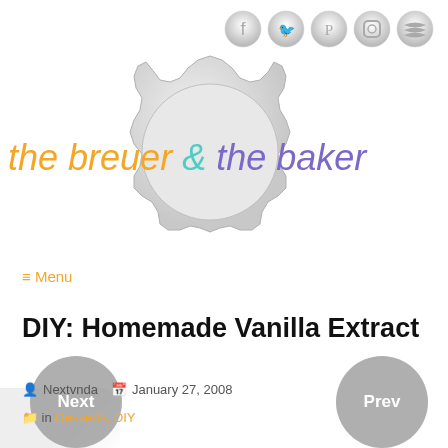[Figure (logo): Social media icons row (Facebook, Twitter, Pinterest, Instagram, RSS) in grey circle buttons]
[Figure (logo): The Brewer and the Baker blog logo — bottle cap graphic with text 'the brewer & the baker' in orange, teal, and purple handwritten style font]
≡ Menu
DIY: Homemade Vanilla Extract
👤 Nextvnda  📅 January 27, 2008
in Desserts, DIY